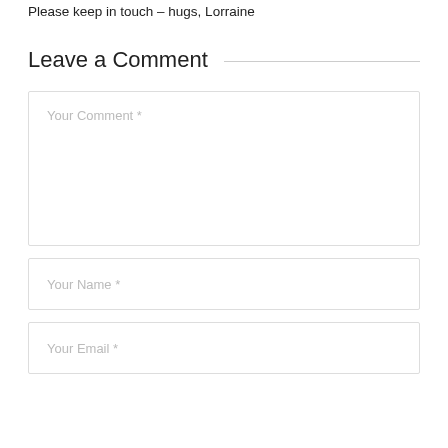Please keep in touch – hugs, Lorraine
Leave a Comment
Your Comment *
Your Name *
Your Email *